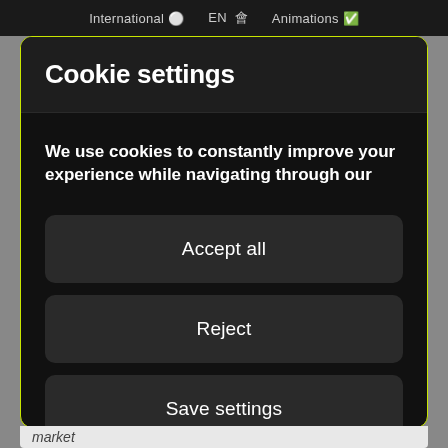International 🌐  EN  🈶  Animations ✅
Cookie settings
We use cookies to constantly improve your experience while navigating through our
Accept all
Reject
Save settings
market